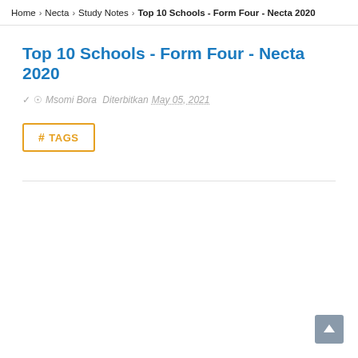Home > Necta > Study Notes > Top 10 Schools - Form Four - Necta 2020
Top 10 Schools - Form Four - Necta 2020
✓ Msomi Bora  Diterbitkan May 05, 2021
# TAGS